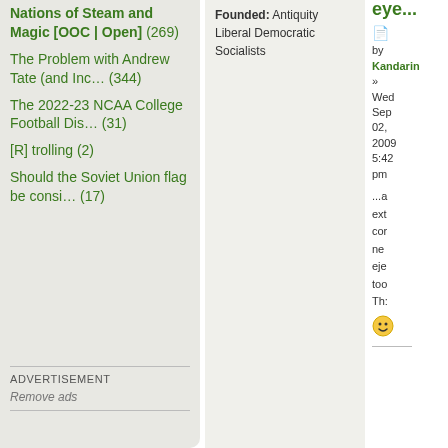Nations of Steam and Magic [OOC | Open] (269)
The Problem with Andrew Tate (and Inc… (344)
The 2022-23 NCAA College Football Dis… (31)
[R] trolling (2)
Should the Soviet Union flag be consi… (17)
ADVERTISEMENT
Remove ads
Founded: Antiquity
Liberal Democratic Socialists
eye...
by Kandarin
» Wed Sep 02, 2009 5:42 pm
...a ext cor ne eje too Th: